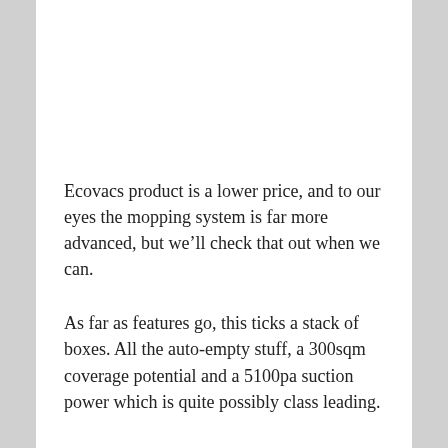Ecovacs product is a lower price, and to our eyes the mopping system is far more advanced, but we'll check that out when we can.
As far as features go, this ticks a stack of boxes. All the auto-empty stuff, a 300sqm coverage potential and a 5100pa suction power which is quite possibly class leading.
Full mapping capabilities via an app, video